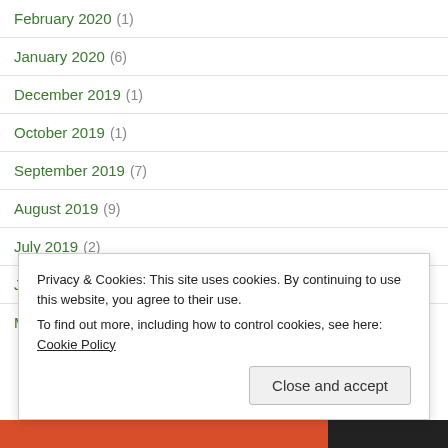February 2020 (1)
January 2020 (6)
December 2019 (1)
October 2019 (1)
September 2019 (7)
August 2019 (9)
July 2019 (2)
June 2019 (1)
May 2019 (1)
Privacy & Cookies: This site uses cookies. By continuing to use this website, you agree to their use.
To find out more, including how to control cookies, see here: Cookie Policy
Close and accept